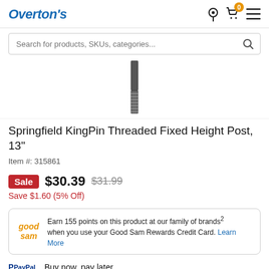Overton's
Search for products, SKUs, categories...
[Figure (photo): Product photo of Springfield KingPin Threaded Fixed Height Post, 13 inch - a slender metallic cylindrical threaded post]
Springfield KingPin Threaded Fixed Height Post, 13"
Item #: 315861
Sale $30.39 $31.99
Save $1.60 (5% Off)
Earn 155 points on this product at our family of brands 2 when you use your Good Sam Rewards Credit Card. Learn More
Buy now, pay later.
Learn more